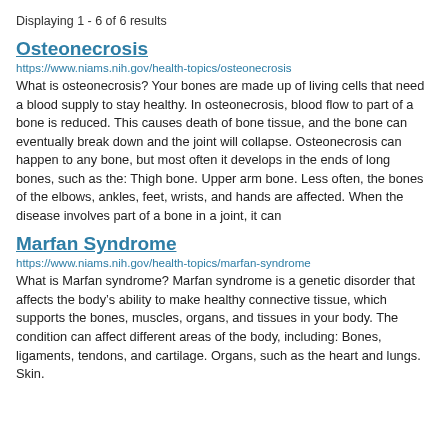Displaying 1 - 6 of 6 results
Osteonecrosis
https://www.niams.nih.gov/health-topics/osteonecrosis
What is osteonecrosis? Your bones are made up of living cells that need a blood supply to stay healthy. In osteonecrosis, blood flow to part of a bone is reduced. This causes death of bone tissue, and the bone can eventually break down and the joint will collapse. Osteonecrosis can happen to any bone, but most often it develops in the ends of long bones, such as the: Thigh bone. Upper arm bone. Less often, the bones of the elbows, ankles, feet, wrists, and hands are affected. When the disease involves part of a bone in a joint, it can
Marfan Syndrome
https://www.niams.nih.gov/health-topics/marfan-syndrome
What is Marfan syndrome? Marfan syndrome is a genetic disorder that affects the body’s ability to make healthy connective tissue, which supports the bones, muscles, organs, and tissues in your body. The condition can affect different areas of the body, including: Bones, ligaments, tendons, and cartilage. Organs, such as the heart and lungs. Skin.